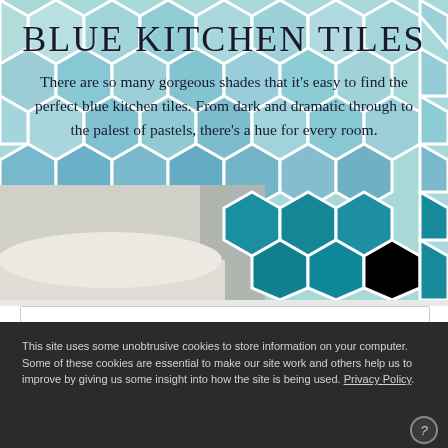[Figure (photo): Blue hexagonal kitchen tiles background image with light blue honeycomb pattern tiles on upper portion and deeper teal tiles visible at bottom, with a partial white ceramic/bowl object on the left lower area]
BLUE KITCHEN TILES
There are so many gorgeous shades that it's easy to find the perfect blue kitchen tiles. From dark and dramatic through to the palest of pastels, there's a hue for every room.
This site uses some unobtrusive cookies to store information on your computer. Some of these cookies are essential to make our site work and others help us to improve by giving us some insight into how the site is being used. Privacy Policy.
ACCEPT